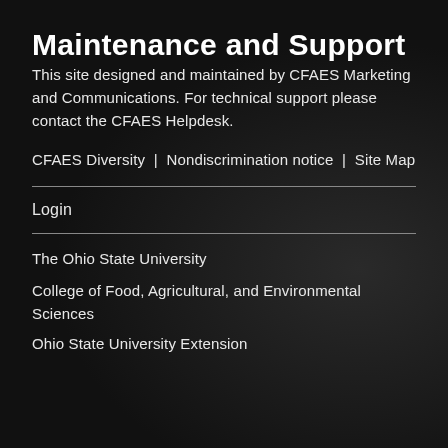Maintenance and Support
This site designed and maintained by CFAES Marketing and Communications. For technical support please contact the CFAES Helpdesk.
CFAES Diversity  |  Nondiscrimination notice  |  Site Map
Login
The Ohio State University
College of Food, Agricultural, and Environmental Sciences
Ohio State University Extension